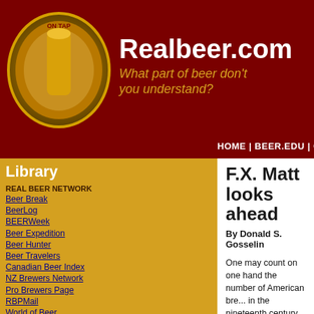Realbeer.com — What part of beer don't you understand?
HOME | BEER.EDU | COMMUNITY | FUN | NEWS | RETAIL | BR...
Library
REAL BEER NETWORK
Beer Break
BeerLog
BEERWeek
Beer Expedition
Beer Hunter
Beer Travelers
Canadian Beer Index
NZ Brewers Network
Pro Brewers Page
RBPMail
World of Beer
PRINT ONLINE
Beer Notes
Biere Mag
Beer Passion
BrewingTechniques
Brew Your Own
Celebrator
Cream City Suds
ONLINE BREWZINES
Beer Me!
Eric's Beer Page
Hop Page
Guide to Belgian Beer
F.X. Matt looks ahead
By Donald S. Gosselin
One may count on one hand the number of American bre... in the nineteenth century, survived over a decade of clos... still brew today. The F.X. Matt Brewery in neighboring Uti... brewery.
It is said that F.X. Matt, the founder of the brewery, was th... country to receive a brewing license -- exactly one hour a... had been signed into law. In what may be described as th... history, the Utica brewery delivered kegs of fresh lager wi... license, where one might imagine that it was very well rec...
After several decades of prosperity, Matt's Brewery strugg... 1980s. By then, nearly every American brewer produced... generically similar to that of Bud, Miller or Coors. In fact,... difference between beers was the fact that Bud, Miller an... marketed and distributed throughout America. Falstaff, S... much larger than the Utica, New York brewery, became a... brewers. Narragansett of Cranston and Carlings of Nati...